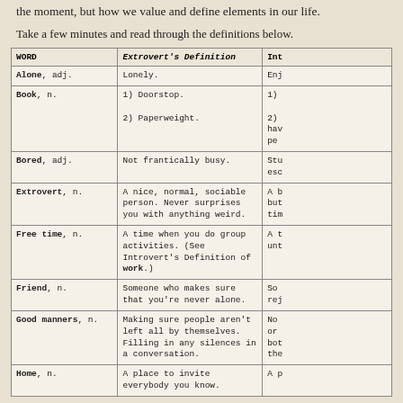the moment, but how we value and define elements in our life.
Take a few minutes and read through the definitions below.
| WORD | Extrovert's Definition | Int... |
| --- | --- | --- |
| Alone, adj. | Lonely. | Enj... |
| Book, n. | 1) Doorstop.
2) Paperweight. | 1) ...
2) ...hav...pe... |
| Bored, adj. | Not frantically busy. | Stu...esc... |
| Extrovert, n. | A nice, normal, sociable person. Never surprises you with anything weird. | A b...but...tim... |
| Free time, n. | A time when you do group activities. (See Introvert's Definition of work.) | A t...unt... |
| Friend, n. | Someone who makes sure that you're never alone. | So...rej... |
| Good manners, n. | Making sure people aren't left all by themselves. Filling in any silences in a conversation. | No...or...bot...the... |
| Home, n. | A place to invite everybody you know. | A p... |